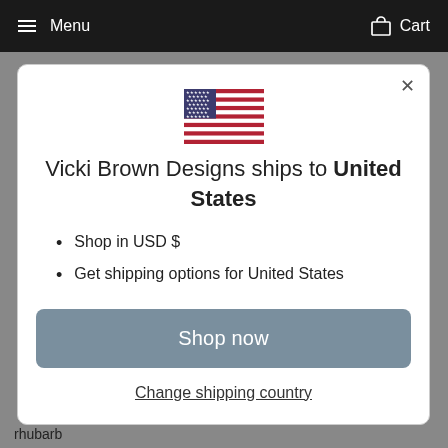Menu   Cart
[Figure (illustration): US flag icon]
Vicki Brown Designs ships to United States
Shop in USD $
Get shipping options for United States
Shop now
Change shipping country
rhubarb